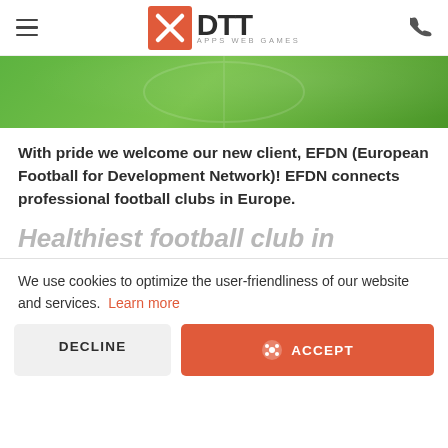DTT APPS WEB GAMES
[Figure (photo): Green football field / banner image]
With pride we welcome our new client, EFDN (European Football for Development Network)! EFDN connects professional football clubs in Europe.
Healthiest football club in
We use cookies to optimize the user-friendliness of our website and services.  Learn more
DECLINE
ACCEPT